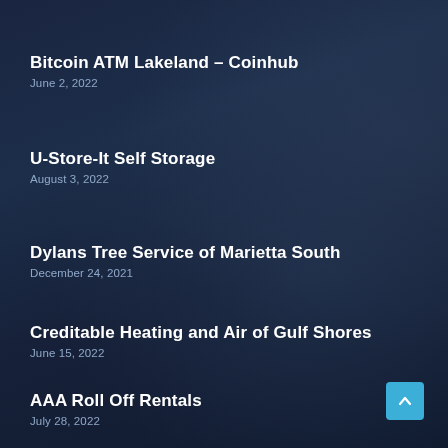Bitcoin ATM Lakeland – Coinhub
June 2, 2022
U-Store-It Self Storage
August 3, 2022
Dylans Tree Service of Marietta South
December 24, 2021
Creditable Heating and Air of Gulf Shores
June 15, 2022
AAA Roll Off Rentals
July 28, 2022